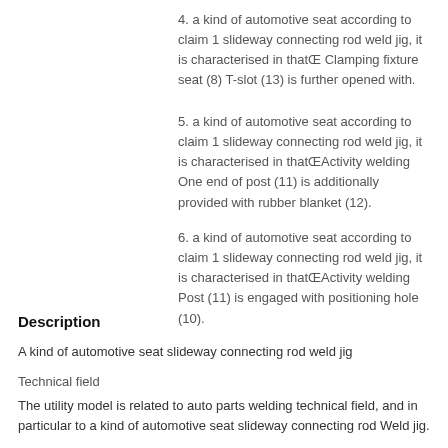4. a kind of automotive seat according to claim 1 slideway connecting rod weld jig, it is characterised in thatŒ Clamping fixture seat (8) T-slot (13) is further opened with.
5. a kind of automotive seat according to claim 1 slideway connecting rod weld jig, it is characterised in thatŒActivity welding One end of post (11) is additionally provided with rubber blanket (12).
6. a kind of automotive seat according to claim 1 slideway connecting rod weld jig, it is characterised in thatŒActivity welding Post (11) is engaged with positioning hole (10).
Description
A kind of automotive seat slideway connecting rod weld jig
Technical field
The utility model is related to auto parts welding technical field, and in particular to a kind of automotive seat slideway connecting rod Weld jig.